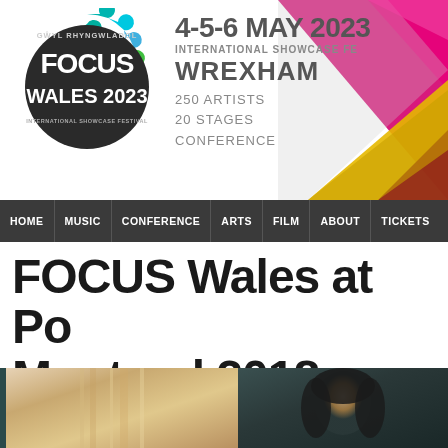[Figure (logo): Focus Wales 2023 circular logo with dark background, colorful scalloped border, text: GŴYL RHYNGWLADOL FOCUS WALES 2023 INTERNATIONAL SHOWCASE FESTIVAL]
4-5-6 MAY 2023
INTERNATIONAL SHOWCASE FE[STIVAL]
WREXHAM
250 ARTISTS
20 STAGES
CONFERENCE
HOME | MUSIC | CONFERENCE | ARTS | FILM | ABOUT | TICKETS
FOCUS Wales at Po[p] Montreal 2018
[Figure (photo): Two portrait photos side by side: left shows a blurred/motion-blurred face with light tones, right shows a woman with dark hair against dark background]